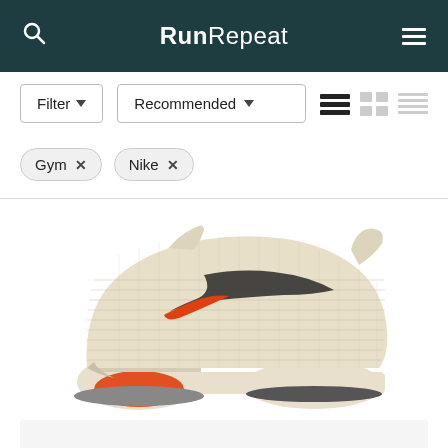RunRepeat
Filter  Recommended  Gym x  Nike x
[Figure (photo): A Nike training/gym shoe in a cream/beige and orange colorway, side profile view, shown against a white background. The shoe features a textured knit upper with a dark swoosh outlined in orange gradient, and a distinctive split outsole design with exposed air unit in orange.]
[Figure (photo): Partial view of a second product card below, with a light grey background, partially cut off.]